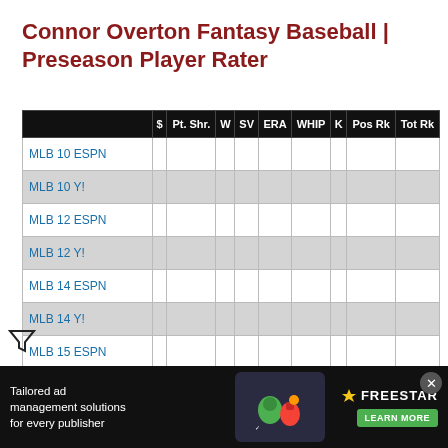Connor Overton Fantasy Baseball | Preseason Player Rater
|  | $ | Pt. Shr. | W | SV | ERA | WHIP | K | Pos Rk | Tot Rk |
| --- | --- | --- | --- | --- | --- | --- | --- | --- | --- |
| MLB 10 ESPN |  |  |  |  |  |  |  |  |  |
| MLB 10 Y! |  |  |  |  |  |  |  |  |  |
| MLB 12 ESPN |  |  |  |  |  |  |  |  |  |
| MLB 12 Y! |  |  |  |  |  |  |  |  |  |
| MLB 14 ESPN |  |  |  |  |  |  |  |  |  |
| MLB 14 Y! |  |  |  |  |  |  |  |  |  |
| MLB 15 ESPN |  |  |  |  |  |  |  |  |  |
| MLB 15 Y! |  |  |  |  |  |  |  |  |  |
| MLB 16 ESPN |  |  |  |  |  |  |  |  |  |
| MLB 16 Y! |  |  |  |  |  |  |  |  |  |
[Figure (screenshot): Advertisement overlay: Tailored ad management solutions for every publisher — Freestar LEARN MORE]